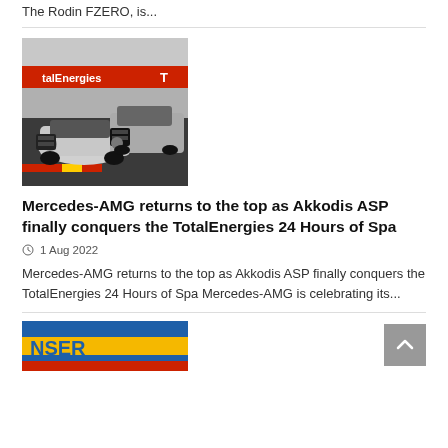The Rodin FZERO, is...
[Figure (photo): Two Mercedes-AMG GT3 racing cars on track with TotalEnergies banner in background]
Mercedes-AMG returns to the top as Akkodis ASP finally conquers the TotalEnergies 24 Hours of Spa
1 Aug 2022
Mercedes-AMG returns to the top as Akkodis ASP finally conquers the TotalEnergies 24 Hours of Spa Mercedes-AMG is celebrating its...
[Figure (photo): Partial view of a racing-related image with blue and yellow colors, partially visible text]